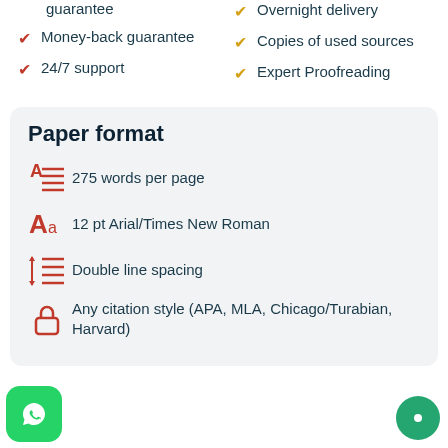guarantee
Overnight delivery
Money-back guarantee
Copies of used sources
24/7 support
Expert Proofreading
Paper format
275 words per page
12 pt Arial/Times New Roman
Double line spacing
Any citation style (APA, MLA, Chicago/Turabian, Harvard)